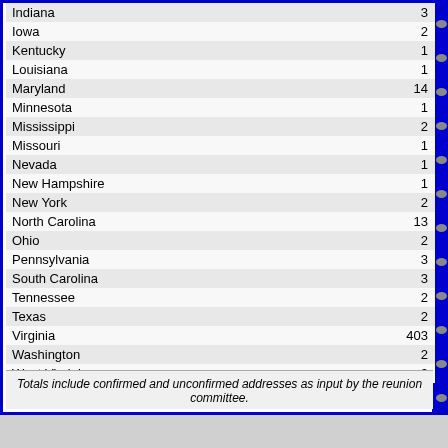| State | Count |
| --- | --- |
| Indiana | 3 |
| Iowa | 2 |
| Kentucky | 1 |
| Louisiana | 1 |
| Maryland | 14 |
| Minnesota | 1 |
| Mississippi | 2 |
| Missouri | 1 |
| Nevada | 1 |
| New Hampshire | 1 |
| New York | 2 |
| North Carolina | 13 |
| Ohio | 2 |
| Pennsylvania | 3 |
| South Carolina | 3 |
| Tennessee | 2 |
| Texas | 2 |
| Virginia | 403 |
| Washington | 2 |
| West Virginia | 2 |
Totals include confirmed and unconfirmed addresses as input by the reunion committee.
The yearly fee covers everyone in y...
$49 a year will cover classes...
$69 a year will cover classes...
$89 a year will cover classes...
CLICK HERE
Be sure to ex... website and a...
Website Questions, Problems...